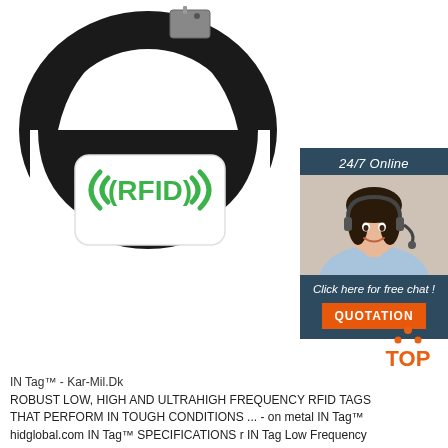[Figure (photo): RFID wristband with black strap and white rectangular module showing green RFID logo with antenna symbols and text]
[Figure (infographic): 24/7 Online chat box with agent photo, 'Click here for free chat!' text, and orange QUOTATION button]
IN Tag™ - Kar-Mil.Dk
[Figure (logo): TOP logo with orange dots forming triangle above the word TOP]
ROBUST LOW, HIGH AND ULTRAHIGH FREQUENCY RFID TAGS THAT PERFORM IN TOUGH CONDITIONS ... - on metal IN Tag™ hidglobal.com IN Tag™ SPECIFICATIONS r IN Tag Low Frequency